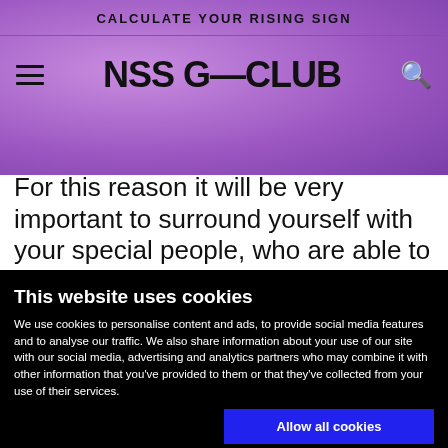CALCULATE YOUR RISING SIGN
NSS G—CLUB
For this reason it will be very important to surround yourself with your special people, who are able to make you think clearly even when you're on the ball! If we talk about work and projects, on the other
This website uses cookies
We use cookies to personalise content and ads, to provide social media features and to analyse our traffic. We also share information about your use of our site with our social media, advertising and analytics partners who may combine it with other information that you've provided to them or that they've collected from your use of their services.
Allow all cookies
Allow selection
Use necessary cookies only
Necessary  Preferences  Statistics  Marketing  Show details